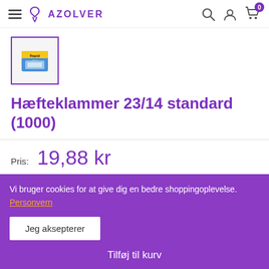AZOLVER — navigation header with hamburger menu, logo, search, account, and cart icons
[Figure (photo): Product thumbnail image of Rapid staples box (23/14 standard 1000) in blue/green packaging, shown in a purple-bordered square thumbnail]
Hæfteklammer 23/14 standard (1000)
Pris: 19,88 kr
Vi bruger cookies for at give dig en bedre shoppingoplevelse. Personvern
Jeg aksepterer
Tilføj til kurv